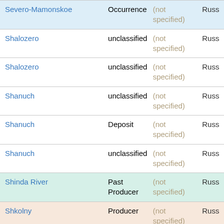| Name | Type | Status | Country |
| --- | --- | --- | --- |
| Severo-Mamonskoe | Occurrence | (not specified) | Russ |
| Shalozero | unclassified | (not specified) | Russ |
| Shalozero | unclassified | (not specified) | Russ |
| Shanuch | unclassified | (not specified) | Russ |
| Shanuch | Deposit | (not specified) | Russ |
| Shanuch | unclassified | (not specified) | Russ |
| Shinda River | Past Producer | (not specified) | Russ |
| Shkolny | Producer | (not specified) | Russ |
| Showing ?15 (massif Lukkulaisvaara) | unclassified | (not specified) | Russ |
| Showing ?2 (massif Lukkulaisvaara) | unclassified | (not specified) | Russ |
| Shulginovskoe | unclassified | (not specified) | Russ |
| Shul'ginovskoe | Deposit | (not specified) | Russ |
| Sinyukhinskoe | unclassified | (not specified) | Russ |